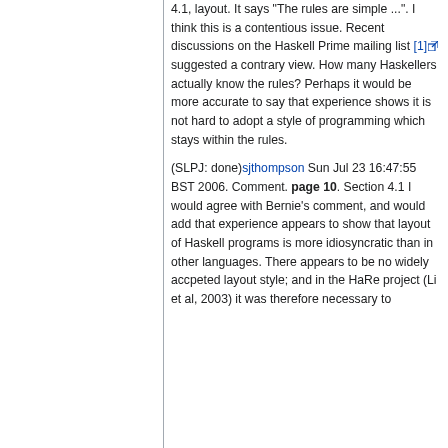4.1, layout. It says "The rules are simple ...". I think this is a contentious issue. Recent discussions on the Haskell Prime mailing list [1] suggested a contrary view. How many Haskellers actually know the rules? Perhaps it would be more accurate to say that experience shows it is not hard to adopt a style of programming which stays within the rules.
(SLPJ: done)sjthompson Sun Jul 23 16:47:55 BST 2006. Comment. page 10. Section 4.1 I would agree with Bernie's comment, and would add that experience appears to show that layout of Haskell programs is more idiosyncratic than in other languages. There appears to be no widely accpeted layout style; and in the HaRe project (Li et al, 2003) it was therefore necessary to